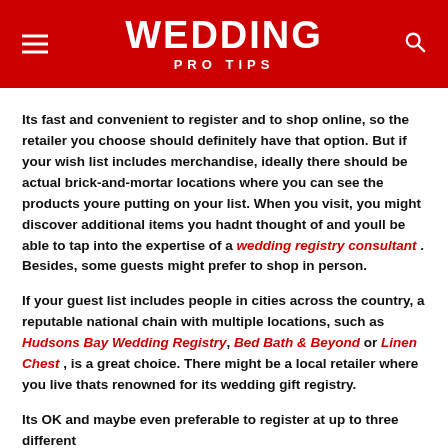WEDDING PRO TIPS
Its fast and convenient to register and to shop online, so the retailer you choose should definitely have that option. But if your wish list includes merchandise, ideally there should be actual brick-and-mortar locations where you can see the products youre putting on your list. When you visit, you might discover additional items you hadnt thought of and youll be able to tap into the expertise of a wedding registry consultant . Besides, some guests might prefer to shop in person.
If your guest list includes people in cities across the country, a reputable national chain with multiple locations, such as Hudsons Bay Wedding Registry, Bed Bath & Beyond or Linen Chest , is a great choice. There might be a local retailer where you live thats renowned for its wedding gift registry.
Its OK and maybe even preferable to register at up to three different